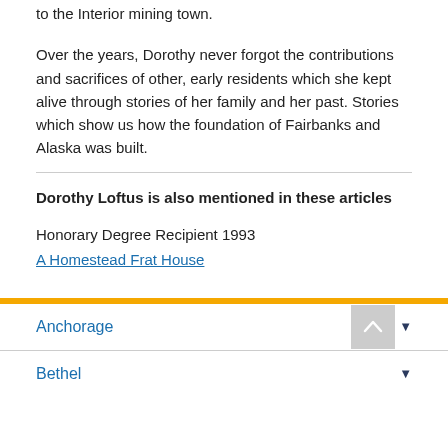to the Interior mining town.
Over the years, Dorothy never forgot the contributions and sacrifices of other, early residents which she kept alive through stories of her family and her past. Stories which show us how the foundation of Fairbanks and Alaska was built.
Dorothy Loftus is also mentioned in these articles
Honorary Degree Recipient 1993
A Homestead Frat House
Anchorage
Bethel